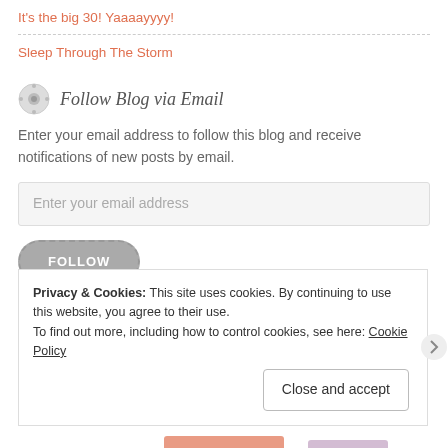It's the big 30! Yaaaayyyy!
Sleep Through The Storm
Follow Blog via Email
Enter your email address to follow this blog and receive notifications of new posts by email.
Enter your email address
FOLLOW
Privacy & Cookies: This site uses cookies. By continuing to use this website, you agree to their use.
To find out more, including how to control cookies, see here: Cookie Policy
Close and accept